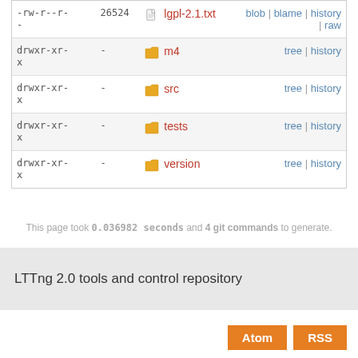| permissions | size | name | actions |
| --- | --- | --- | --- |
| -rw-r--r-  26524  - |  | lgpl-2.1.txt | blob | blame | history | raw |
| drwxr-xr-  -  x |  | m4 | tree | history |
| drwxr-xr-  -  x |  | src | tree | history |
| drwxr-xr-  -  x |  | tests | tree | history |
| drwxr-xr-  -  x |  | version | tree | history |
This page took 0.036982 seconds and 4 git commands to generate.
LTTng 2.0 tools and control repository
Atom  RSS